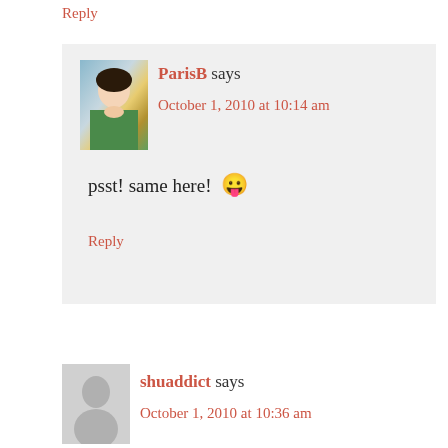Reply
ParisB says
October 1, 2010 at 10:14 am
psst! same here! 😛
Reply
shuaddict says
October 1, 2010 at 10:36 am